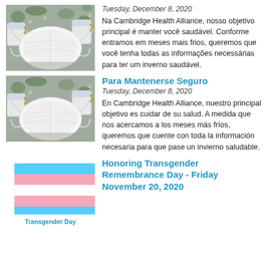[Figure (photo): Photo of a white face mask with gold mugs and pine branches in background]
Tuesday, December 8, 2020
Na Cambridge Health Alliance, nosso objetivo principal é manter você saudável. Conforme entramos em meses mais frios, queremos que você tenha todas as informações necessárias para ter um inverno saudável.
[Figure (photo): Photo of a white face mask with gold mugs and pine branches in background]
Para Mantenerse Seguro
Tuesday, December 8, 2020
En Cambridge Health Alliance, nuestro principal objetivo es cuidar de su salud. A medida que nos acercamos a los meses más fríos, queremos que cuente con toda la información necesaria para que pase un invierno saludable.
[Figure (illustration): Transgender pride flag illustration - horizontal stripes in blue, pink, and white with a triangular pennant shape]
Honoring Transgender Remembrance Day - Friday November 20, 2020
Transgender Day